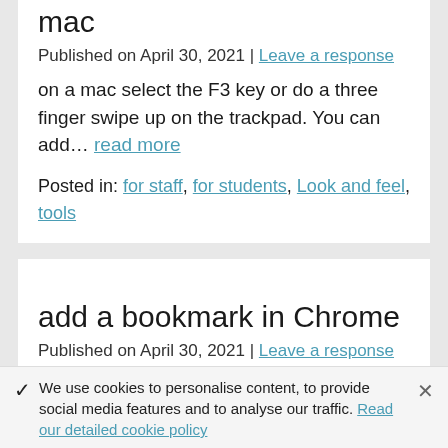mac
Published on April 30, 2021 | Leave a response
on a mac select the F3 key or do a three finger swipe up on the trackpad. You can add… read more
Posted in: for staff, for students, Look and feel, tools
add a bookmark in Chrome
Published on April 30, 2021 | Leave a response
In Chrome browser type the URL of the site into the…
We use cookies to personalise content, to provide social media features and to analyse our traffic. Read our detailed cookie policy